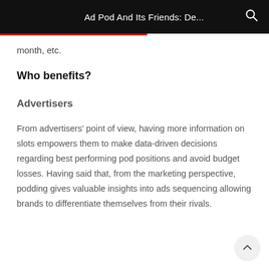Ad Pod And Its Friends: De...
month, etc.
Who benefits?
Advertisers
From advertisers' point of view, having more information on slots empowers them to make data-driven decisions regarding best performing pod positions and avoid budget losses. Having said that, from the marketing perspective, podding gives valuable insights into ads sequencing allowing brands to differentiate themselves from their rivals.